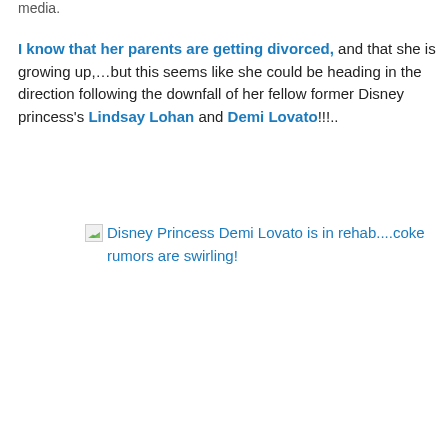media.
I know that her parents are getting divorced, and that she is growing up,…but this seems like she could be heading in the direction following the downfall of her fellow former Disney princess's Lindsay Lohan and Demi Lovato!!!..
[Figure (other): Broken image placeholder with alt text: Disney Princess Demi Lovato is in rehab....coke rumors are swirling!]